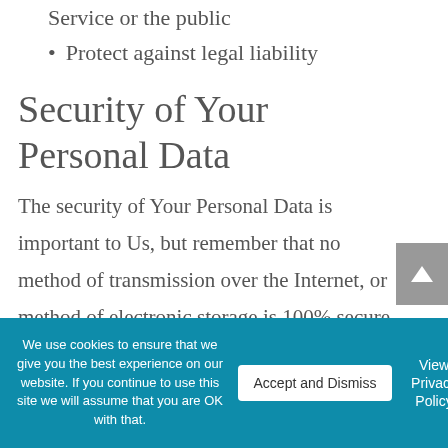Service or the public
Protect against legal liability
Security of Your Personal Data
The security of Your Personal Data is important to Us, but remember that no method of transmission over the Internet, or method of electronic storage is 100% secure. While We strive to use commercially acceptable means to protect Your Personal
We use cookies to ensure that we give you the best experience on our website. If you continue to use this site we will assume that you are OK with that.
Accept and Dismiss
View Privacy Policy